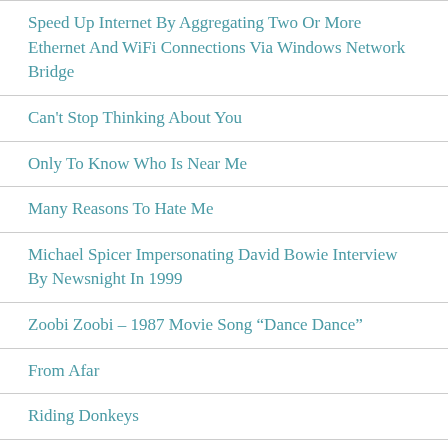Speed Up Internet By Aggregating Two Or More Ethernet And WiFi Connections Via Windows Network Bridge
Can't Stop Thinking About You
Only To Know Who Is Near Me
Many Reasons To Hate Me
Michael Spicer Impersonating David Bowie Interview By Newsnight In 1999
Zoobi Zoobi – 1987 Movie Song "Dance Dance"
From Afar
Riding Donkeys